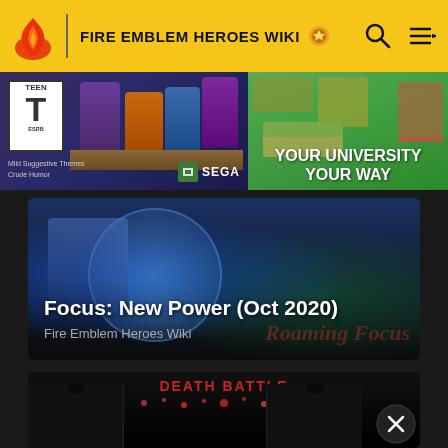FIRE EMBLEM HEROES WIKI
[Figure (screenshot): Advertisement banner with ESRB Teen rating (Mild Suggestive Themes, Crude Humor) on the left showing game characters, and a university advertisement on the right saying YOUR UNIVERSITY YOUR WAY]
[Figure (screenshot): Focus: New Power (Oct 2020) card with Fire Emblem Heroes Wiki branding over a dark blue game artwork background]
Focus: New Power (Oct 2020)
Fire Emblem Heroes Wiki
[Figure (screenshot): Death Battle merchandise card showing black t-shirts with red Death Battle logo text and a close/X button in the bottom right]